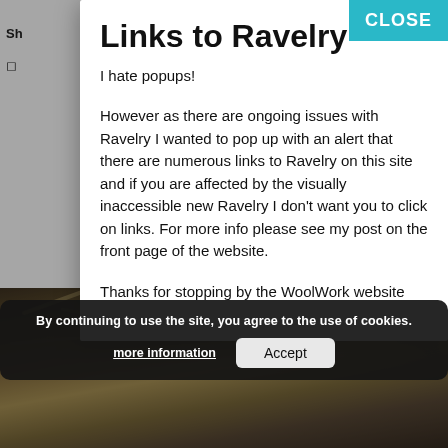Links to Ravelry
I hate popups!
However as there are ongoing issues with Ravelry I wanted to pop up with an alert that there are numerous links to Ravelry on this site and if you are affected by the visually inaccessible new Ravelry I don't want you to click on links. For more info please see my post on the front page of the website.
Thanks for stopping by the WoolWork website
[Figure (photo): Background photo of wool/fleece fibers, dark tones]
By continuing to use the site, you agree to the use of cookies.
more information   Accept